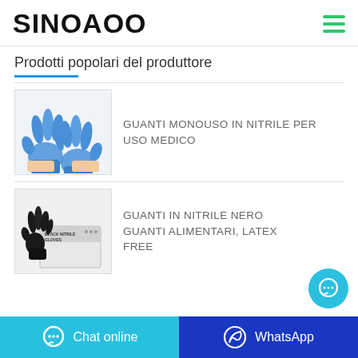SINOAOO
Prodotti popolari del produttore
[Figure (photo): Two blue nitrile disposable gloves against white background]
GUANTI MONOUSO IN NITRILE PER USO MEDICO
[Figure (photo): Black nitrile gloves with product box labeled BLACK NITRILE GLOVES]
GUANTI IN NITRILE NERO GUANTI ALIMENTARI, LATEX FREE
Chat online   WhatsApp